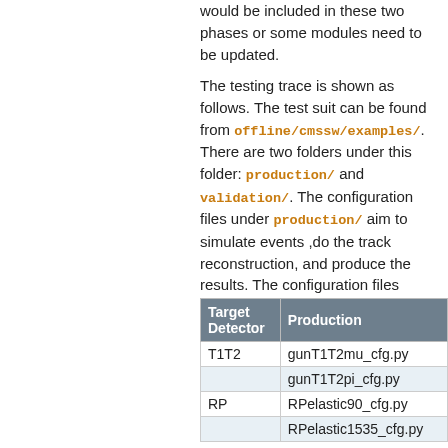would be included in these two phases or some modules need to be updated.
The testing trace is shown as follows. The test suit can be found from offline/cmssw/examples/. There are two folders under this folder: production/ and validation/. The configuration files under production/ aim to simulate events ,do the track reconstruction, and produce the results. The configuration files under validation/ aim to validate the results made by the files under production/ and produce the validation summary results.
| Target Detector | Production |
| --- | --- |
| T1T2 | gunT1T2mu_cfg.py |
|  | gunT1T2pi_cfg.py |
| RP | RPelastic90_cfg.py |
|  | RPelastic1535_cfg.py |